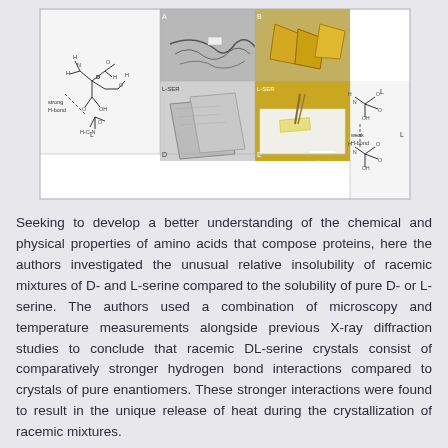[Figure (illustration): Composite scientific figure showing: top-left chemical structure diagram of D-serine with 'strong H-bond' label; top-middle and top-right electron microscopy and optical microscopy images of crystals (panels A, B, C); bottom-left electron microscopy image of larger crystals labeled L-SER (panel D); bottom-middle optical microscopy image of crystal being manipulated (panel E, with scale bar); bottom-right chemical structure diagram showing 'weak H-bond' label with L-serine arrangement.]
Seeking to develop a better understanding of the chemical and physical properties of amino acids that compose proteins, here the authors investigated the unusual relative insolubility of racemic mixtures of D- and L-serine compared to the solubility of pure D- or L-serine. The authors used a combination of microscopy and temperature measurements alongside previous X-ray diffraction studies to conclude that racemic DL-serine crystals consist of comparatively stronger hydrogen bond interactions compared to crystals of pure enantiomers. These stronger interactions were found to result in the unique release of heat during the crystallization of racemic mixtures.